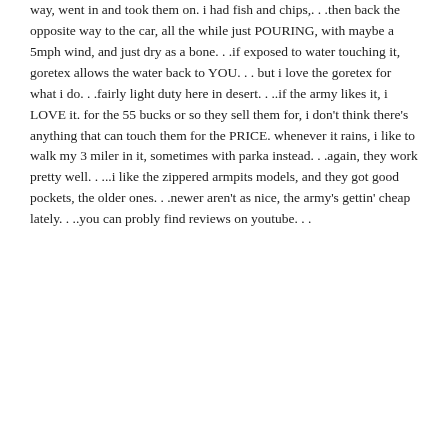way, went in and took them on. i had fish and chips,. . .then back the opposite way to the car, all the while just POURING, with maybe a 5mph wind, and just dry as a bone. . .if exposed to water touching it, goretex allows the water back to YOU. . . but i love the goretex for what i do. . .fairly light duty here in desert. . ..if the army likes it, i LOVE it. for the 55 bucks or so they sell them for, i don't think there's anything that can touch them for the PRICE. whenever it rains, i like to walk my 3 miler in it, sometimes with parka instead. . .again, they work pretty well. . ...i like the zippered armpits models, and they got good pockets, the older ones. . .newer aren't as nice, the army's gettin' cheap lately. . ..you can probly find reviews on youtube. . .